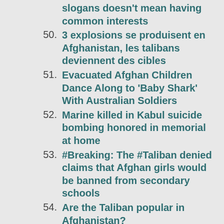slogans doesn't mean having common interests
50. 3 explosions se produisent en Afghanistan, les talibans deviennent des cibles
51. Evacuated Afghan Children Dance Along to 'Baby Shark' With Australian Soldiers
52. Marine killed in Kabul suicide bombing honored in memorial at home
53. #Breaking: The #Taliban denied claims that Afghan girls would be banned from secondary schools
54. Are the Taliban popular in Afghanistan?
55. Mughal oops Taliban takes over Afghanistan
56. Billboard Shows Biden as a Terrorists Saying Make Taliban Great Again
57. Taliban-run Kabul municipality to female workers: Stay home
58. The Fall of Kabul
59. He Left a War-Torn Country as a Refugee and